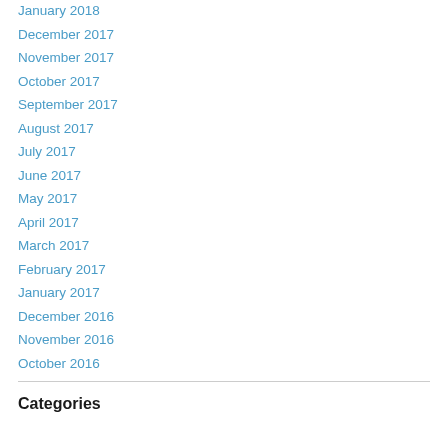January 2018
December 2017
November 2017
October 2017
September 2017
August 2017
July 2017
June 2017
May 2017
April 2017
March 2017
February 2017
January 2017
December 2016
November 2016
October 2016
Categories